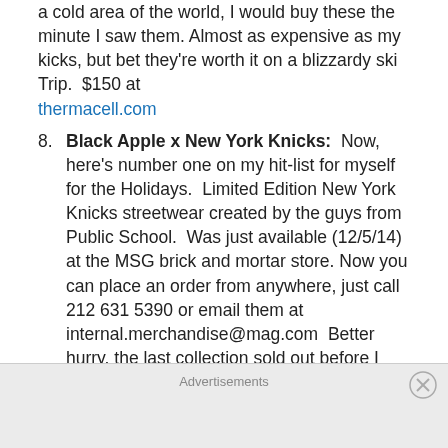a cold area of the world, I would buy these the minute I saw them. Almost as expensive as my kicks, but bet they're worth it on a blizzardy ski Trip.  $150 at thermacell.com
8. Black Apple x New York Knicks:  Now, here's number one on my hit-list for myself for the Holidays.  Limited Edition New York Knicks streetwear created by the guys from Public School.  Was just available (12/5/14) at the MSG brick and mortar store. Now you can place an order from anywhere, just call 212 631 5390 or email them at internal.merchandise@mag.com  Better hurry, the last collection sold out before I even knew it was available. Find pictures on Instagram or as usual, just google it.  Glad they were able to
Advertisements